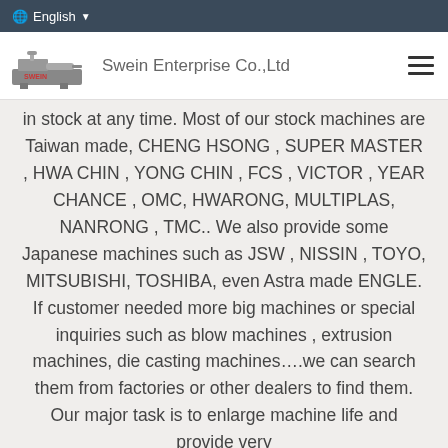English
[Figure (logo): Swein Enterprise Co.,Ltd logo with industrial machine icon and company name]
in stock at any time. Most of our stock machines are Taiwan made, CHENG HSONG , SUPER MASTER , HWA CHIN , YONG CHIN , FCS , VICTOR , YEAR CHANCE , OMC, HWARONG, MULTIPLAS, NANRONG , TMC.. We also provide some Japanese machines such as JSW , NISSIN , TOYO, MITSUBISHI, TOSHIBA, even Astra made ENGLE. If customer needed more big machines or special inquiries such as blow machines , extrusion machines, die casting machines….we can search them from factories or other dealers to find them. Our major task is to enlarge machine life and provide very